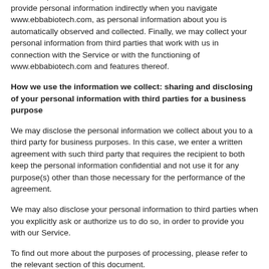submit requests via any forms on www.ebbabiotech.com. You also provide personal information indirectly when you navigate www.ebbabiotech.com, as personal information about you is automatically observed and collected. Finally, we may collect your personal information from third parties that work with us in connection with the Service or with the functioning of www.ebbabiotech.com and features thereof.
How we use the information we collect: sharing and disclosing of your personal information with third parties for a business purpose
We may disclose the personal information we collect about you to a third party for business purposes. In this case, we enter a written agreement with such third party that requires the recipient to both keep the personal information confidential and not use it for any purpose(s) other than those necessary for the performance of the agreement.
We may also disclose your personal information to third parties when you explicitly ask or authorize us to do so, in order to provide you with our Service.
To find out more about the purposes of processing, please refer to the relevant section of this document.
Sale of your personal information